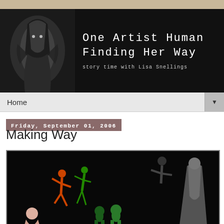[Figure (photo): Blog header banner: dark/black background with a ghostly black-and-white photo of a hooded figure on the left, and handwritten-style white text reading 'One Artist Human Finding Her Way' with subtitle 'story time with Lisa Snellings']
Home
Friday, September 01, 2006
Making Way
[Figure (photo): Dark photograph showing colorful artistic figurines/sculptures suspended or displayed against a black background — includes orange, green, and multi-colored figures that appear to be acrobatic or jester-like characters, and frog-like figurines at the bottom, plus a draped grey figure on the right]